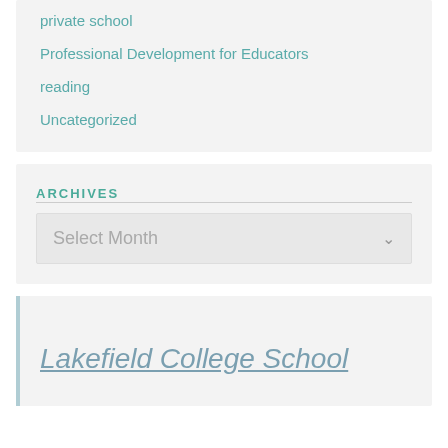private school
Professional Development for Educators
reading
Uncategorized
ARCHIVES
Select Month
Lakefield College School